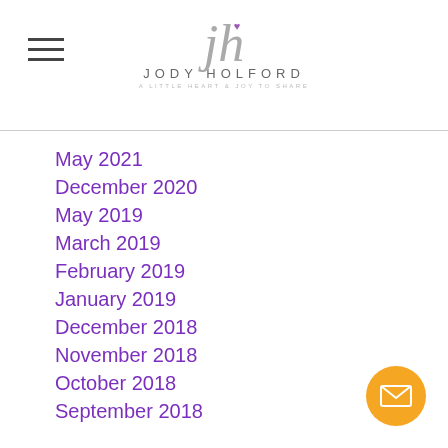Jody Holford — site header with logo and hamburger menu
May 2021
December 2020
May 2019
March 2019
February 2019
January 2019
December 2018
November 2018
October 2018
September 2018
August 2018
June 2018
May 2018
April 2018
March 2018
February 2018
January 2018